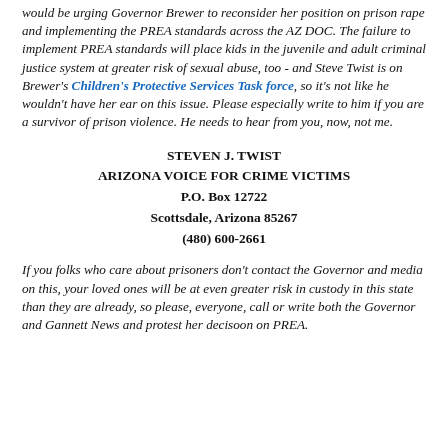would be urging Governor Brewer to reconsider her position on prison rape and implementing the PREA standards across the AZ DOC. The failure to implement PREA standards will place kids in the juvenile and adult criminal justice system at greater risk of sexual abuse, too - and Steve Twist is on Brewer's Children's Protective Services Task force, so it's not like he wouldn't have her ear on this issue. Please especially write to him if you are a survivor of prison violence. He needs to hear from you, now, not me.
STEVEN J. TWIST
ARIZONA VOICE FOR CRIME VICTIMS
P.O. Box 12722
Scottsdale, Arizona 85267
(480) 600-2661
If you folks who care about prisoners don't contact the Governor and media on this, your loved ones will be at even greater risk in custody in this state than they are already, so please, everyone, call or write both the Governor and Gannett News and protest her decisoon on PREA.